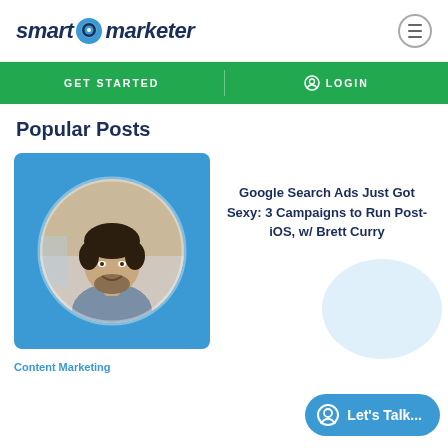[Figure (logo): Smart Marketer logo with speech bubble icon]
GET STARTED   LOGIN
Popular Posts
[Figure (photo): Man smiling, circular headshot on blue background card]
Google Search Ads Just Got Sexy: 3 Campaigns to Run Post-iOS, w/ Brett Curry
Content Marketing